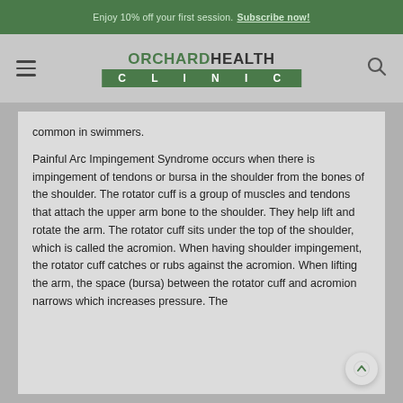Enjoy 10% off your first session. Subscribe now!
[Figure (logo): Orchard Health Clinic logo with hamburger menu and search icon]
common in swimmers.
Painful Arc Impingement Syndrome occurs when there is impingement of tendons or bursa in the shoulder from the bones of the shoulder. The rotator cuff is a group of muscles and tendons that attach the upper arm bone to the shoulder. They help lift and rotate the arm. The rotator cuff sits under the top of the shoulder, which is called the acromion. When having shoulder impingement, the rotator cuff catches or rubs against the acromion. When lifting the arm, the space (bursa) between the rotator cuff and acromion narrows which increases pressure. The